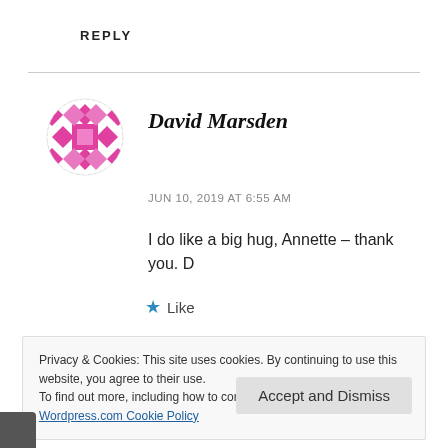REPLY
[Figure (illustration): Circular avatar with pink/magenta geometric diamond pattern grid design on white background]
David Marsden
JUN 10, 2019 AT 6:55 AM
I do like a big hug, Annette – thank you. D
★ Like
Privacy & Cookies: This site uses cookies. By continuing to use this website, you agree to their use.
To find out more, including how to control cookies, see here:
Wordpress.com Cookie Policy
Accept and Dismiss